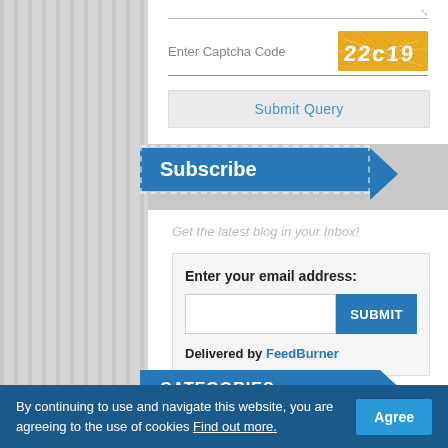[Figure (screenshot): CAPTCHA code image showing '22c19' in white text on orange background]
Enter Captcha Code
Submit Query
Subscribe
Get the latest blog in your Inbox!
Enter your email address:
SUBMIT
Delivered by FeedBurner
CATEGORIES
By continuing to use and navigate this website, you are agreeing to the use of cookies Find out more.
Agree